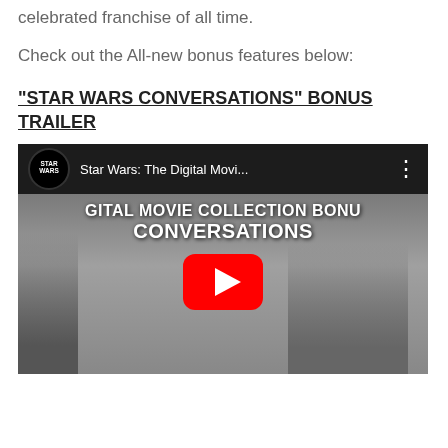celebrated franchise of all time.
Check out the All-new bonus features below:
“STAR WARS CONVERSATIONS” BONUS TRAILER
[Figure (screenshot): YouTube video embed showing Star Wars: The Digital Movie Collection Bonus Conversations trailer, with YouTube logo, video title, play button overlay, and a person in a plaid shirt in the background.]